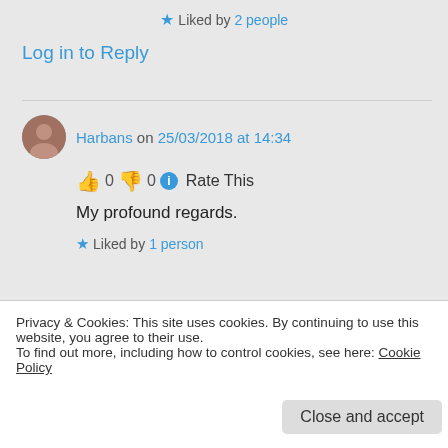★ Liked by 2 people
Log in to Reply
Harbans on 25/03/2018 at 14:34
👍 0 👎 0 ℹ Rate This
My profound regards.
★ Liked by 1 person
Log in to Reply
Privacy & Cookies: This site uses cookies. By continuing to use this website, you agree to their use.
To find out more, including how to control cookies, see here: Cookie Policy
Close and accept